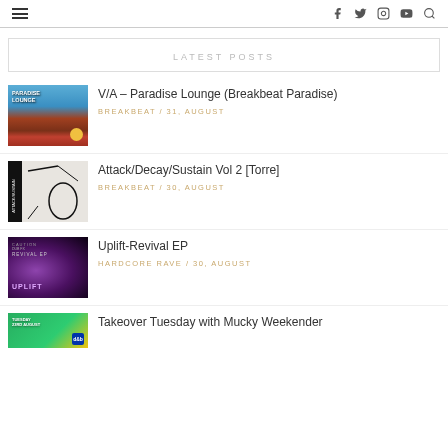≡  f  t  ☷  ▶  🔍
LATEST POSTS
[Figure (photo): Album cover for V/A - Paradise Lounge (Breakbeat Paradise), showing a beach scene with a red sofa]
V/A – Paradise Lounge (Breakbeat Paradise)
BREAKBEAT / 31, AUGUST
[Figure (photo): Album cover for Attack/Decay/Sustain Vol 2 [Torre], black and white illustration]
Attack/Decay/Sustain Vol 2 [Torre]
BREAKBEAT / 30, AUGUST
[Figure (photo): Album cover for Uplift-Revival EP, dark purple with CAUTION label text and UPLIFT text]
Uplift-Revival EP
HARDCORE RAVE / 30, AUGUST
[Figure (photo): Partial album cover for Takeover Tuesday with Mucky Weekender, green and yellow]
Takeover Tuesday with Mucky Weekender